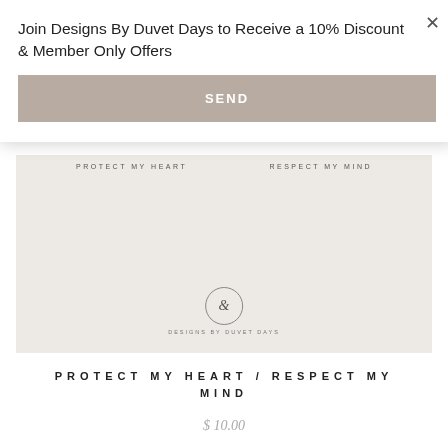Join Designs By Duvet Days to Receive a 10% Discount & Member Only Offers
SEND
[Figure (illustration): Product image showing a beige/cream background with text 'PROTECT MY HEART' on the left and 'RESPECT MY MIND' on the right, and a circular brand logo with an ampersand and 'DESIGNS BY DUVET DAYS' text in the center bottom.]
PROTECT MY HEART / RESPECT MY MIND
$ 10.00